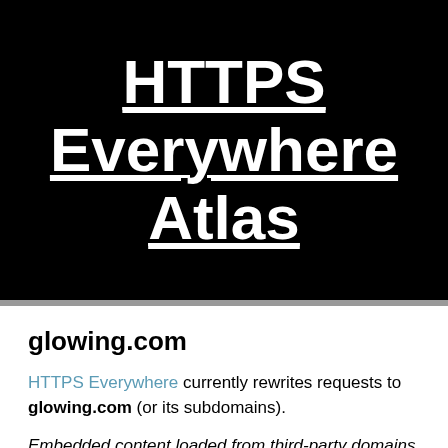HTTPS Everywhere Atlas
glowing.com
HTTPS Everywhere currently rewrites requests to glowing.com (or its subdomains).
Embedded content loaded from third-party domains (for example, YouTube, Google Analytics, ad networks, or CDNs) may also be affected. You can test this by loading the web page in question in a browser with HTTPS Everywhere installed and pulling down the